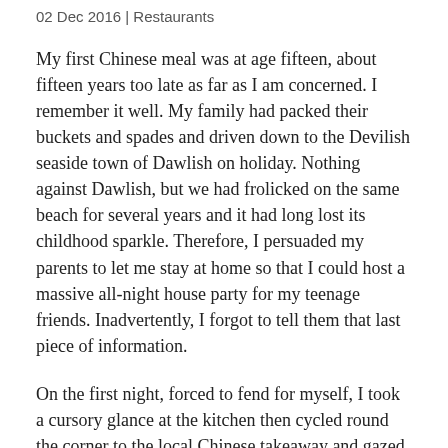02 Dec 2016 | Restaurants
My first Chinese meal was at age fifteen, about fifteen years too late as far as I am concerned. I remember it well. My family had packed their buckets and spades and driven down to the Devilish seaside town of Dawlish on holiday. Nothing against Dawlish, but we had frolicked on the same beach for several years and it had long lost its childhood sparkle. Therefore, I persuaded my parents to let me stay at home so that I could host a massive all-night house party for my teenage friends. Inadvertently, I forgot to tell them that last piece of information.
On the first night, forced to fend for myself, I took a cursory glance at the kitchen then cycled round the corner to the local Chinese takeaway and gazed up at the foreign-sounding dishes. I had to steady myself on the formica counter. None of them, not a single dish, came with chips. Was there not an Essex bylaw that forbade such culinary faux pas? A Chinese grandma, who must have been born at some indeterminate point during the Ming dynasty, took pity on me and kindly suggested your common-and-garden sweet 'n sour pork